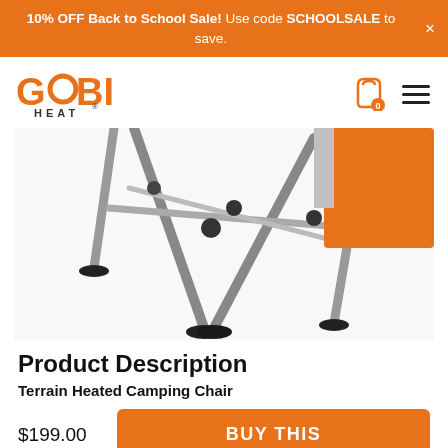10% OFF Back to School Sale! Use code SCHOOLSALE to save.
[Figure (logo): Gobi Heat logo in orange with circular O]
[Figure (photo): Close-up photo of the legs/feet of a Terrain Heated Camping Chair, showing metal cross-frame legs with black rubber foot caps and orange fabric seat visible at top right]
Product Description
Terrain Heated Camping Chair
$199.00
BUY THIS